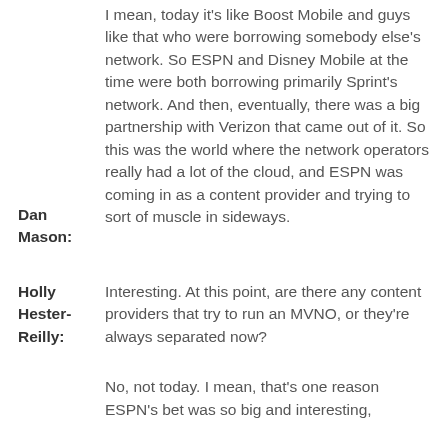I mean, today it's like Boost Mobile and guys like that who were borrowing somebody else's network. So ESPN and Disney Mobile at the time were both borrowing primarily Sprint's network. And then, eventually, there was a big partnership with Verizon that came out of it. So this was the world where the network operators really had a lot of the cloud, and ESPN was coming in as a content provider and trying to sort of muscle in sideways.